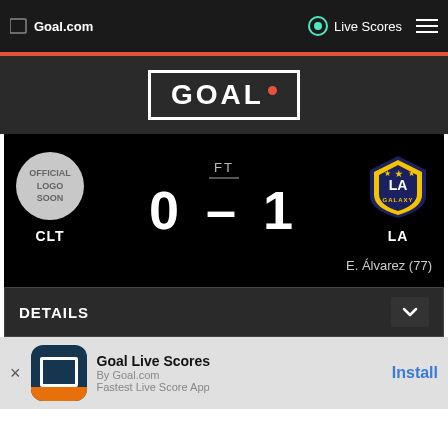Goal.com  Live Scores
[Figure (logo): Goal.com logo in white box with red dot]
[Figure (infographic): Match scoreline: CLT 0-1 LA, FT, E. Álvarez (77)]
DETAILS
Goal Live Scores
By Goal.com
Fastest Live Score App
Install